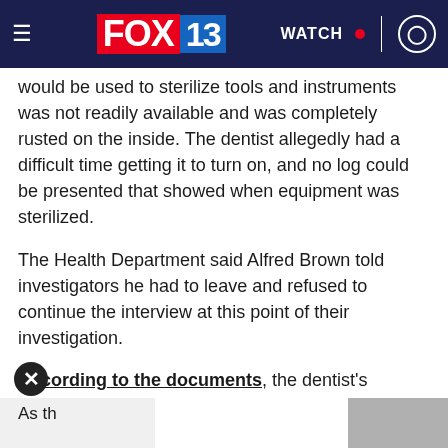FOX 13 | WATCH
would be used to sterilize tools and instruments was not readily available and was completely rusted on the inside. The dentist allegedly had a difficult time getting it to turn on, and no log could be presented that showed when equipment was sterilized.
The Health Department said Alfred Brown told investigators he had to leave and refused to continue the interview at this point of their investigation.
According to the documents, the dentist's receptionist could not provide all of the medical records that were requested by the investigators.
As th